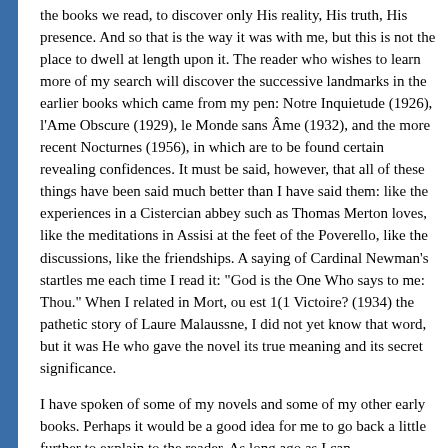the books we read, to discover only His reality, His truth, His presence. And so that is the way it was with me, but this is not the place to dwell at length upon it. The reader who wishes to learn more of my search will discover the successive landmarks in the earlier books which came from my pen: Notre Inquietude (1926), l'Ame Obscure (1929), le Monde sans Âme (1932), and the more recent Nocturnes (1956), in which are to be found certain revealing confidences. It must be said, however, that all of these things have been said much better than I have said them: like the experiences in a Cistercian abbey such as Thomas Merton loves, like the meditations in Assisi at the feet of the Poverello, like the discussions, like the friendships. A saying of Cardinal Newman's startles me each time I read it: "God is the One Who says to me: Thou." When I related in Mort, ou est 1(1 Victoire? (1934) the pathetic story of Laure Malaussne, I did not yet know that word, but it was He who gave the novel its true meaning and its secret significance.
I have spoken of some of my novels and some of my other early books. Perhaps it would be a good idea for me to go back a little further to explain to the reader. As long ago as I can